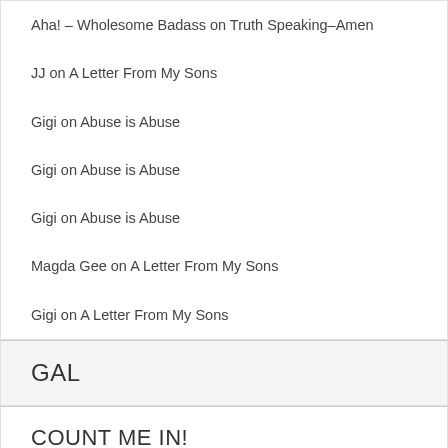Aha! – Wholesome Badass on Truth Speaking–Amen
JJ on A Letter From My Sons
Gigi on Abuse is Abuse
Gigi on Abuse is Abuse
Gigi on Abuse is Abuse
Magda Gee on A Letter From My Sons
Gigi on A Letter From My Sons
GAL
COUNT ME IN!
Subscribe to our...